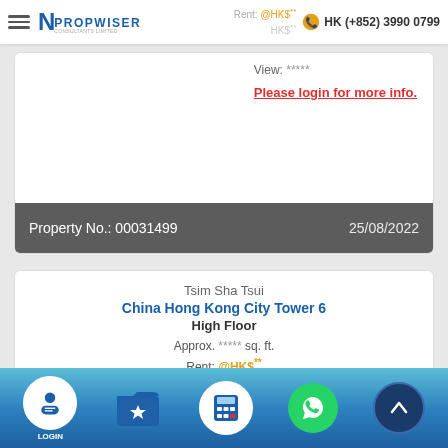Propwiser Consultants Limited — HK (+852) 3990 0799
Rent: @HK$** HK$** View: ***** Please login for more info.
Property No.: 00031499  25/08/2022
Tsim Sha Tsui
China Hong Kong City Tower 6
High Floor
Approx. ***** sq. ft.
Rent: @HK$**
HK$****
View: *****
LOGIN navigation bar